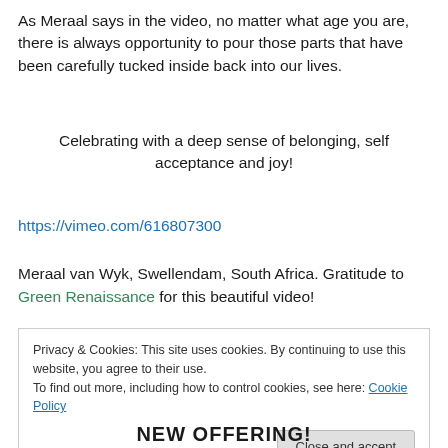As Meraal says in the video, no matter what age you are, there is always opportunity to pour those parts that have been carefully tucked inside back into our lives.
Celebrating with a deep sense of belonging, self acceptance and joy!
https://vimeo.com/616807300
Meraal van Wyk, Swellendam, South Africa. Gratitude to Green Renaissance for this beautiful video!
Privacy & Cookies: This site uses cookies. By continuing to use this website, you agree to their use.
To find out more, including how to control cookies, see here: Cookie Policy
Close and accept
NEW OFFERING!